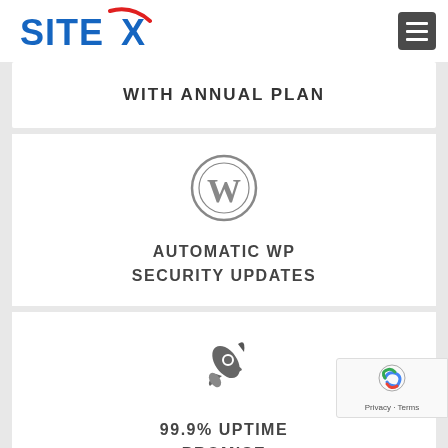[Figure (logo): SITEX logo with blue text and red checkmark swoosh]
WITH ANNUAL PLAN
[Figure (illustration): WordPress logo circle icon in grey]
AUTOMATIC WP SECURITY UPDATES
[Figure (illustration): Rocket icon in grey]
99.9% UPTIME PROMISE
[Figure (other): reCAPTCHA badge with Privacy and Terms links]